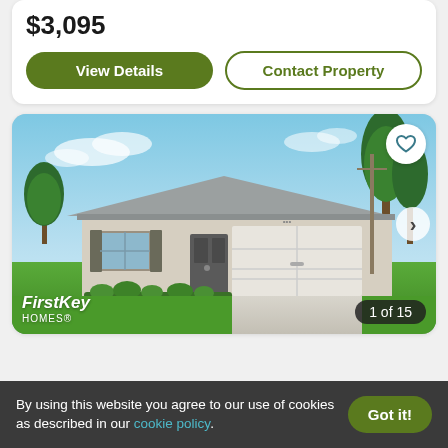$3,095
View Details
Contact Property
[Figure (photo): Exterior photo of a single-story rental home with white/beige stucco walls, gray roof, two-car garage with white door, concrete driveway, and green lawn. Blue sky with clouds. FirstKey Homes branding in bottom-left corner. '1 of 15' badge in bottom-right corner.]
By using this website you agree to our use of cookies as described in our cookie policy.
Got it!